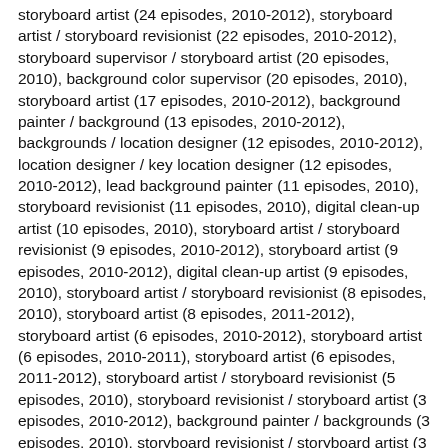storyboard artist (24 episodes, 2010-2012), storyboard artist / storyboard revisionist (22 episodes, 2010-2012), storyboard supervisor / storyboard artist (20 episodes, 2010), background color supervisor (20 episodes, 2010), storyboard artist (17 episodes, 2010-2012), background painter / background (13 episodes, 2010-2012), backgrounds / location designer (12 episodes, 2010-2012), location designer / key location designer (12 episodes, 2010-2012), lead background painter (11 episodes, 2010), storyboard revisionist (11 episodes, 2010), digital clean-up artist (10 episodes, 2010), storyboard artist / storyboard revisionist (9 episodes, 2010-2012), storyboard artist (9 episodes, 2010-2012), digital clean-up artist (9 episodes, 2010), storyboard artist / storyboard revisionist (8 episodes, 2010), storyboard artist (8 episodes, 2011-2012), storyboard artist (6 episodes, 2010-2012), storyboard artist (6 episodes, 2010-2011), storyboard artist (6 episodes, 2011-2012), storyboard artist / storyboard revisionist (5 episodes, 2010), storyboard revisionist / storyboard artist (3 episodes, 2010-2012), background painter / backgrounds (3 episodes, 2010), storyboard revisionist / storyboard artist (3 episodes, 2010), storyboard revisionist (2 episodes, 2010), storyboard revisionist (2 episodes, 2011-2012), supervising sound editor / Supervising Sound Editor (62 episodes, 2010-2012), re-recording mixer (34 episodes, 2010-2012), foley artist / sound effects editor (27 episodes, 2010-2012), assistant dialogue engineer (19 episodes, 2010), supervising dialog editor (16 episodes, 2010-2012), dialogue engineer (12 episodes, 2010